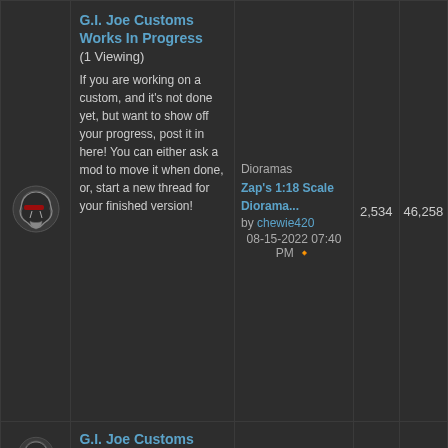| Icon | Forum | Last Post | Threads | Posts |
| --- | --- | --- | --- | --- |
| [cobra icon] | G.I. Joe Customs Works In Progress (1 Viewing)
If you are working on a custom, and it's not done yet, but want to show off your progress, post it in here! You can either ask a mod to move it when done, or, start a new thread for your finished version! | Dioramas
Zap's 1:18 Scale Diorama...
by chewie420
08-15-2022 07:40 PM | 2,534 | 46,258 |
| [cobra icon] | G.I. Joe Customs General Discussion (3 Viewing) |  |  |  |